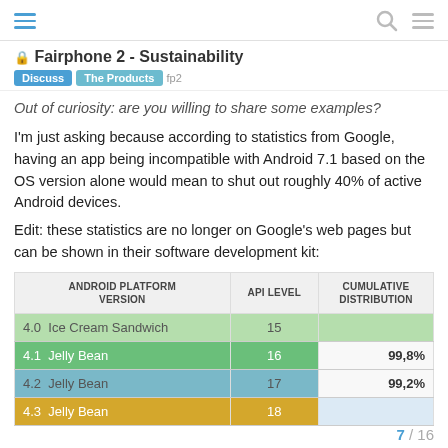Fairphone 2 - Sustainability
Fairphone 2 - Sustainability
Out of curiosity: are you willing to share some examples?
I'm just asking because according to statistics from Google, having an app being incompatible with Android 7.1 based on the OS version alone would mean to shut out roughly 40% of active Android devices.
Edit: these statistics are no longer on Google's web pages but can be shown in their software development kit:
| ANDROID PLATFORM VERSION | API LEVEL | CUMULATIVE DISTRIBUTION |
| --- | --- | --- |
| 4.0  Ice Cream Sandwich | 15 |  |
| 4.1  Jelly Bean | 16 | 99,8% |
| 4.2  Jelly Bean | 17 | 99,2% |
| 4.3  Jelly Bean | 18 |  |
7 / 16